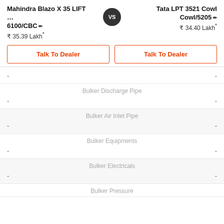Mahindra Blazo X 35 LIFT … 6100/CBC
Tata LPT 3521 Cowl Cowl/5205
₹ 35.39 Lakh*
₹ 34.40 Lakh*
Talk To Dealer
Talk To Dealer
| Left Value | Feature | Right Value |
| --- | --- | --- |
| - | Bulker Discharge Pipe | - |
| - | Bulker Air Inlet Pipe | - |
| - | Bulker Equipments | - |
| - | Bulker Electricals | - |
| - | Bulker Pressure | - |